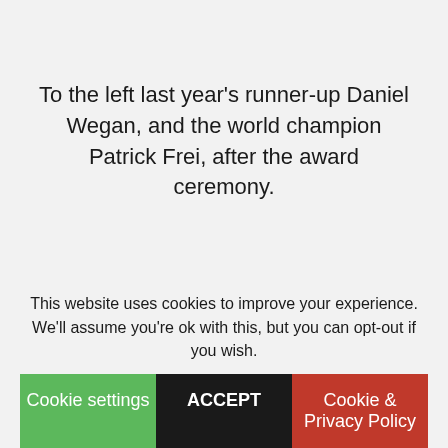To the left last year's runner-up Daniel Wegan, and the world champion Patrick Frei, after the award ceremony.
You are very welcome to the London Super Trunk Show on Saturday March 23, hopefully it will be another day to remember! Thanks in advance for all your help spreading the word
This website uses cookies to improve your experience. We'll assume you're ok with this, but you can opt-out if you wish.
Cookie settings
ACCEPT
Cookie & Privacy Policy